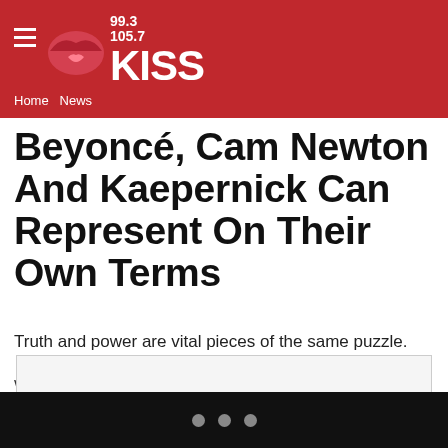99.3 105.7 KISS FM — Home / News
Beyoncé, Cam Newton And Kaepernick Can Represent On Their Own Terms
Truth and power are vital pieces of the same puzzle.
Written by @coupcoup40cal
[Figure (photo): Article image placeholder with credit text '99.3-105.7 Kiss FM']